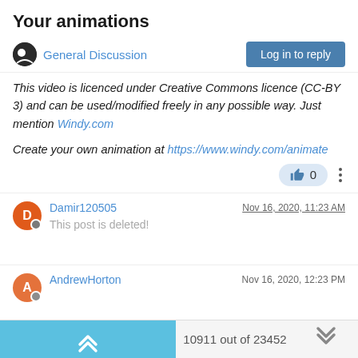Your animations
General Discussion | Log in to reply
This video is licenced under Creative Commons licence (CC-BY 3) and can be used/modified freely in any possible way. Just mention Windy.com

Create your own animation at https://www.windy.com/animate
Damir120505 — Nov 16, 2020, 11:23 AM
This post is deleted!
AndrewHorton — Nov 16, 2020, 12:23 PM
10911 out of 23452